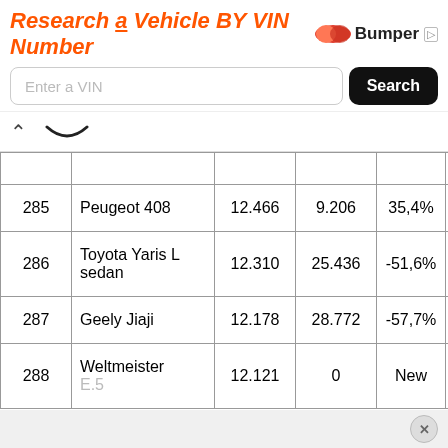[Figure (screenshot): Bumper ad banner: 'Research a Vehicle BY VIN Number' with search input and Search button]
|  |  |  |  |  |  |
| --- | --- | --- | --- | --- | --- |
| 285 | Peugeot 408 | 12.466 | 9.206 | 35,4% | 2 |
| 286 | Toyota Yaris L sedan | 12.310 | 25.436 | -51,6% | 1 |
| 287 | Geely Jiaji | 12.178 | 28.772 | -57,7% | 1 |
| 288 | Weltmeister E.5 | 12.121 | 0 | New |  |